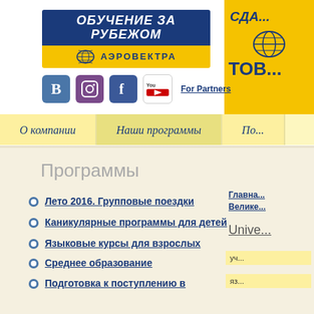[Figure (logo): Aerovektra logo — 'Обучение за рубежом' on blue background, 'Аэровектра' on yellow with globe icon]
[Figure (screenshot): Partial yellow banner on right side with partial Cyrillic text 'СДА...' and 'ТОВ...' and a globe icon]
[Figure (screenshot): Social media icons row: VK, Instagram, Facebook, YouTube, and 'For Partners' link]
О компании
Наши программы
По...
Программы
Главна... Велике...
Unive...
Лето 2016. Групповые поездки
Каникулярные программы для детей
Языковые курсы для взрослых
Среднее образование
Подготовка к поступлению в